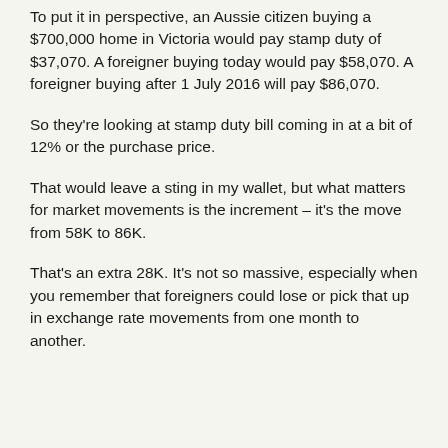To put it in perspective, an Aussie citizen buying a $700,000 home in Victoria would pay stamp duty of $37,070. A foreigner buying today would pay $58,070. A foreigner buying after 1 July 2016 will pay $86,070.
So they're looking at stamp duty bill coming in at a bit of 12% or the purchase price.
That would leave a sting in my wallet, but what matters for market movements is the increment – it's the move from 58K to 86K.
That's an extra 28K. It's not so massive, especially when you remember that foreigners could lose or pick that up in exchange rate movements from one month to another.